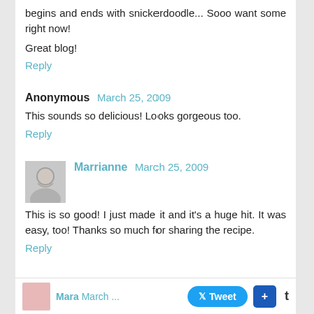begins and ends with snickerdoodle... Sooo want some right now!
Great blog!
Reply
Anonymous March 25, 2009
This sounds so delicious! Looks gorgeous too.
Reply
Marrianne March 25, 2009
This is so good! I just made it and it's a huge hit. It was easy, too! Thanks so much for sharing the recipe.
Reply
Mara March ...